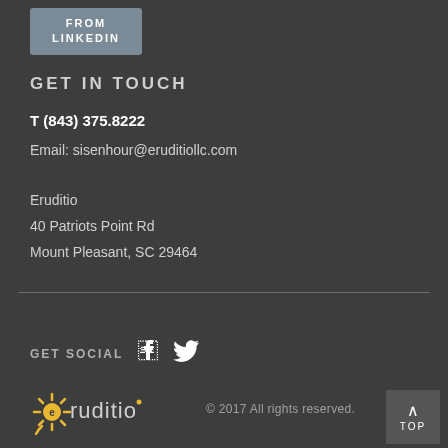[Figure (logo): FROM LINKEDIN button/badge with grey background]
GET IN TOUCH
T (843) 375.8222
Email: sisenhour@eruditiollc.com
Eruditio
40 Patriots Point Rd
Mount Pleasant, SC 29464
GET SOCIAL
[Figure (logo): Eruditio company logo with sunburst icon and company name]
© 2017 All rights reserved.